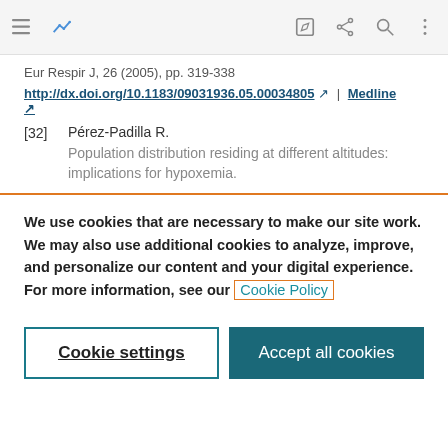[Figure (screenshot): Mobile app navigation bar with hamburger menu icon, a blue line-chart/trend icon, edit icon, share/network icon, search icon, and vertical ellipsis menu icon on a light grey background.]
Eur Respir J, 26 (2005), pp. 319-338
http://dx.doi.org/10.1183/09031936.05.00034805 ↗ | Medline ↗
[32]  Pérez-Padilla R.
Population distribution residing at different altitudes: implications for hypoxemia.
We use cookies that are necessary to make our site work. We may also use additional cookies to analyze, improve, and personalize our content and your digital experience. For more information, see our Cookie Policy
Cookie settings
Accept all cookies